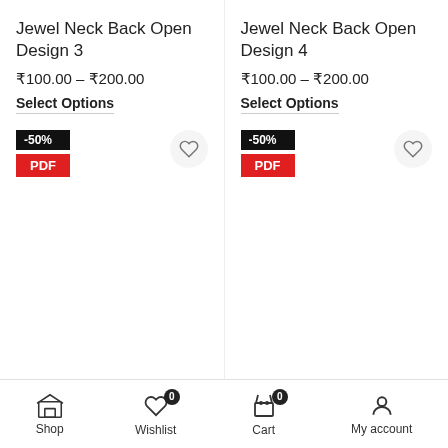Jewel Neck Back Open Design 3
₹100.00 – ₹200.00
Select Options
[Figure (other): -50% badge and PDF badge with wishlist heart button]
Jewel Neck Back Open Design 4
₹100.00 – ₹200.00
Select Options
[Figure (other): -50% badge and PDF badge with wishlist heart button]
Collar Neck Front Open Design 1
Collar Neck Front Open Design 2
Shop  Wishlist 0  Cart 0  My account